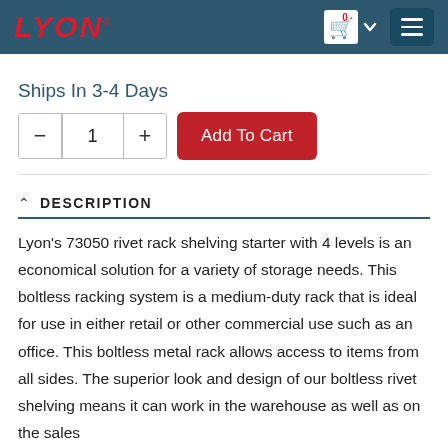LYON
Ships In 3-4 Days
Add To Cart
DESCRIPTION
Lyon's 73050 rivet rack shelving starter with 4 levels is an economical solution for a variety of storage needs. This boltless racking system is a medium-duty rack that is ideal for use in either retail or other commercial use such as an office. This boltless metal rack allows access to items from all sides. The superior look and design of our boltless rivet shelving means it can work in the warehouse as well as on the sales